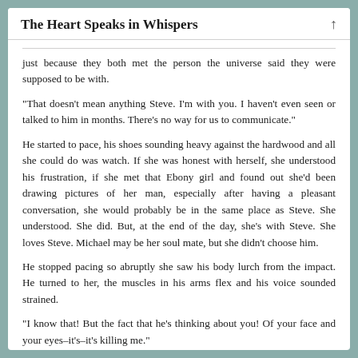The Heart Speaks in Whispers
just because they both met the person the universe said they were supposed to be with.
“That doesn’t mean anything Steve. I’m with you. I haven’t even seen or talked to him in months. There’s no way for us to communicate.”
He started to pace, his shoes sounding heavy against the hardwood and all she could do was watch. If she was honest with herself, she understood his frustration, if she met that Ebony girl and found out she’d been drawing pictures of her man, especially after having a pleasant conversation, she would probably be in the same place as Steve. She understood. She did. But, at the end of the day, she’s with Steve. She loves Steve. Michael may be her soul mate, but she didn’t choose him.
He stopped pacing so abruptly she saw his body lurch from the impact. He turned to her, the muscles in his arms flex and his voice sounded strained.
“I know that! But the fact that he’s thinking about you! Of your face and your eyes–it’s–it’s killing me.”